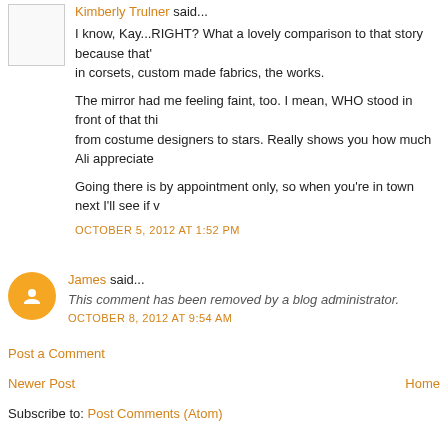Kimberly Trulner said...
I know, Kay...RIGHT? What a lovely comparison to that story because that's in corsets, custom made fabrics, the works.
The mirror had me feeling faint, too. I mean, WHO stood in front of that thi from costume designers to stars. Really shows you how much Ali appreciate
Going there is by appointment only, so when you're in town next I'll see if v
OCTOBER 5, 2012 AT 1:52 PM
James said...
This comment has been removed by a blog administrator.
OCTOBER 8, 2012 AT 9:54 AM
Post a Comment
Newer Post
Home
Subscribe to: Post Comments (Atom)